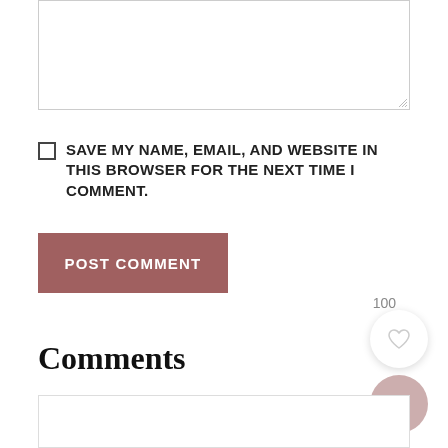[Figure (screenshot): Textarea input box with resize handle at bottom right]
SAVE MY NAME, EMAIL, AND WEBSITE IN THIS BROWSER FOR THE NEXT TIME I COMMENT.
[Figure (screenshot): POST COMMENT button in muted rose/brown color]
100
[Figure (other): Heart/like button circle icon]
[Figure (other): Search button circle icon in pink]
Comments
Sarah s
NOVEMBER 21, 2017 AT 11:52 PM